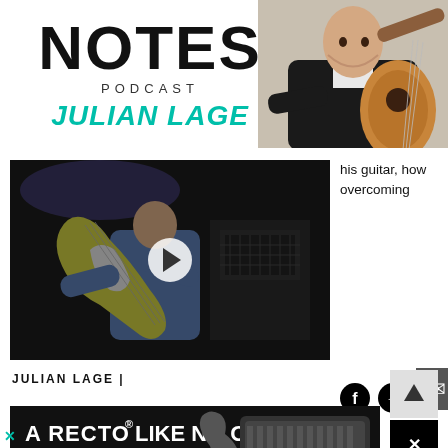NOTES PODCAST JULIAN LAGE
[Figure (photo): Photo of Julian Lage playing acoustic guitar, wearing black jacket, cropped to upper right of banner]
[Figure (screenshot): Video thumbnail of a guitarist playing electric guitar in a studio setting with amplifiers, with a play button overlay. Text partially visible: 'his guitar, how overcoming']
his guitar, how overcoming
JULIAN LAGE  |
[Figure (photo): Advertisement for Mesa/Boogie: 'A RECTO LIKE NO OTHER - THE BADLANDER SERIES - LEARN MORE - MESA/BOOGIE' with image of amplifier head and guitar]